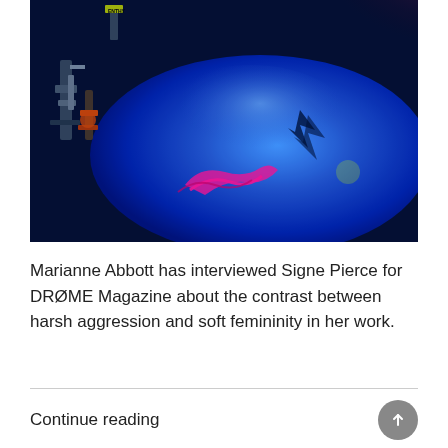[Figure (photo): Close-up photograph of a blue motorcycle fuel tank with metallic sheen, pink/magenta flame graphic, and mechanical parts visible on the left side. Vivid neon blue and pink lighting with dark background.]
Marianne Abbott has interviewed Signe Pierce for DRØME Magazine about the contrast between harsh aggression and soft femininity in her work.
Continue reading